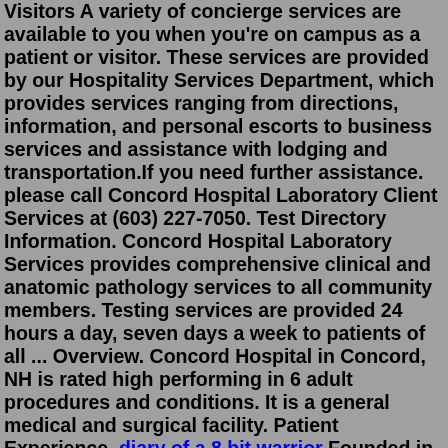Visitors A variety of concierge services are available to you when you're on campus as a patient or visitor. These services are provided by our Hospitality Services Department, which provides services ranging from directions, information, and personal escorts to business services and assistance with lodging and transportation.If you need further assistance. please call Concord Hospital Laboratory Client Services at (603) 227-7050. Test Directory Information. Concord Hospital Laboratory Services provides comprehensive clinical and anatomic pathology services to all community members. Testing services are provided 24 hours a day, seven days a week to patients of all ... Overview. Concord Hospital in Concord, NH is rated high performing in 6 adult procedures and conditions. It is a general medical and surgical facility. Patient Experience. diary of a 8 bit warrior Founded in 1911, Emerson Hospital is a full-service, regional medical center headquartered in historic Concord, Massachusetts. Emerson provides advanced medical services to more than 300,000 people in 25 towns. We